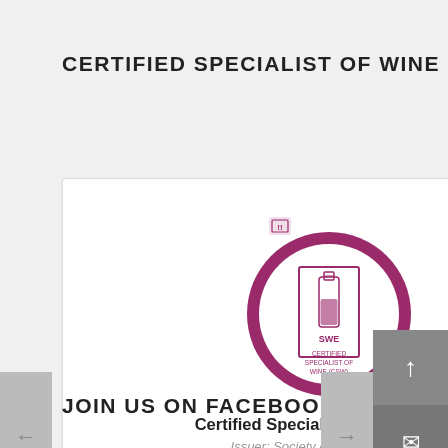CERTIFIED SPECIALIST OF WINE
[Figure (logo): Credly badge for Certified Specialist of Wine (CSW) from Society of Wine Educators. A circular badge with maroon/purple border containing a wine bottle icon and 'SWE' text with 'CERTIFIED SPECIALIST OF WINE (CSW)' inside.]
Certified Specialist of Wine (CSW)
Issuer: Society of Wine Educators
PROVIDED BY Credly
JOIN US ON FACEBOOK